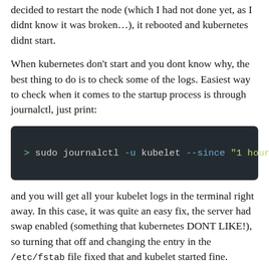decided to restart the node (which I had not done yet, as I didnt know it was broken…), it rebooted and kubernetes didnt start.
When kubernetes don't start and you dont know why, the best thing to do is to check some of the logs. Easiest way to check when it comes to the startup process is through journalctl, just print:
[Figure (screenshot): Dark terminal code block showing: > sudo journalctl -u kubelet --since "1 hour ago"]
and you will get all your kubelet logs in the terminal right away. In this case, it was quite an easy fix, the server had swap enabled (something that kubernetes DONT LIKE!), so turning that off and changing the entry in the /etc/fstab file fixed that and kubelet started fine.
In the fstab file, you can find a entry which has the type